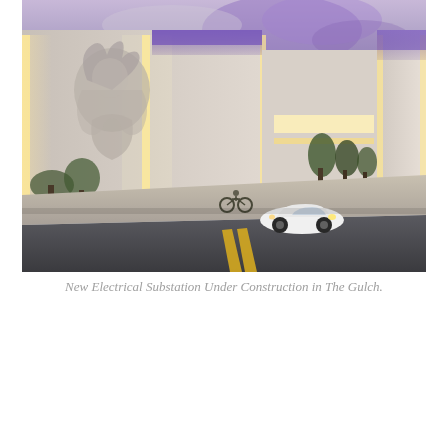[Figure (photo): Architectural rendering/photo of a new electrical substation under construction in The Gulch. The building features large white concrete walls with a large mural of hands/figure on the left side, illuminated with warm and purple accent lighting. A white car is driving on the street in front, a cyclist is visible near the building, trees line the sidewalk, and the sky is cloudy with a purple-blue hue at dusk or dawn.]
New Electrical Substation Under Construction in The Gulch.